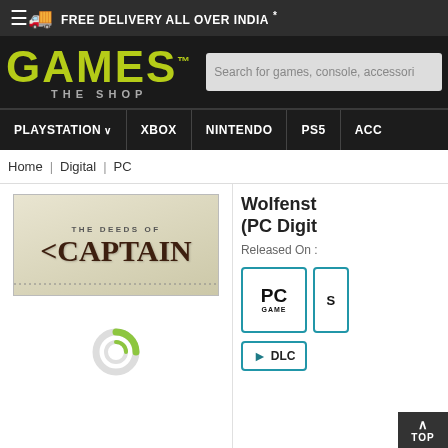FREE DELIVERY ALL OVER INDIA *
[Figure (logo): Games The Shop logo with yellow-green GAMES text and THE SHOP subtitle]
Search for games, console, accessories
PLAYSTATION | XBOX | NINTENDO | PS5 | ACCI
Home | Digital | PC
[Figure (screenshot): Game cover image showing THE DEEDS OF CAPTAIN text]
Wolfenst (PC Digit
Released On :
[Figure (illustration): PC GAME platform icon in teal border]
[Figure (illustration): S platform icon in teal border]
[Figure (illustration): Loading spinner graphic]
TOP
[Figure (illustration): DLC label with arrow icon in teal border]